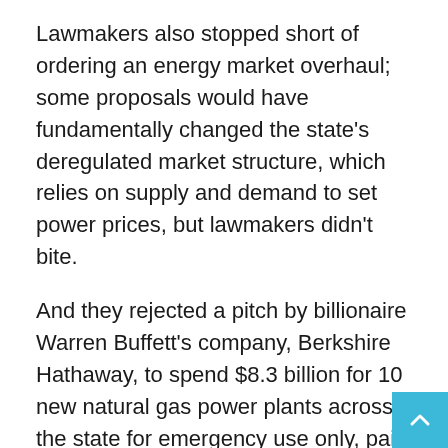Lawmakers also stopped short of ordering an energy market overhaul; some proposals would have fundamentally changed the state's deregulated market structure, which relies on supply and demand to set power prices, but lawmakers didn't bite.
And they rejected a pitch by billionaire Warren Buffett's company, Berkshire Hathaway, to spend $8.3 billion for 10 new natural gas power plants across the state for emergency use only, paid for by electricity customers. Many Texas companies did not support the plan, and lawmakers didn't even support studying the idea.
Lawmakers also didn't pass legislation that would help Texans pay to better insulate their homes and reduce their electricity usage, which could both lower power bills and reduce demand on the grid.